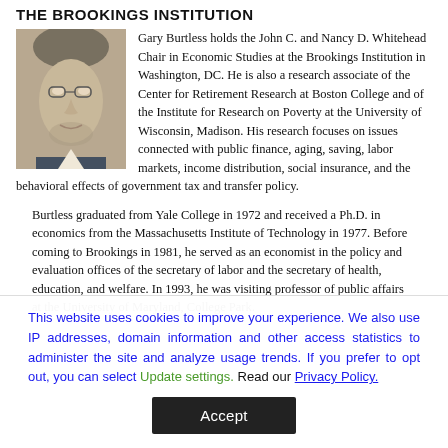THE BROOKINGS INSTITUTION
[Figure (photo): Black and white headshot photo of Gary Burtless, a middle-aged man with glasses and slightly disheveled hair, wearing a suit.]
Gary Burtless holds the John C. and Nancy D. Whitehead Chair in Economic Studies at the Brookings Institution in Washington, DC. He is also a research associate of the Center for Retirement Research at Boston College and of the Institute for Research on Poverty at the University of Wisconsin, Madison. His research focuses on issues connected with public finance, aging, saving, labor markets, income distribution, social insurance, and the behavioral effects of government tax and transfer policy.
Burtless graduated from Yale College in 1972 and received a Ph.D. in economics from the Massachusetts Institute of Technology in 1977. Before coming to Brookings in 1981, he served as an economist in the policy and evaluation offices of the secretary of labor and the secretary of health, education, and welfare. In 1993, he was visiting professor of public affairs at the University of Maryland, College Park. He has served as a consultant or expert for the World Bank...
This website uses cookies to improve your experience. We also use IP addresses, domain information and other access statistics to administer the site and analyze usage trends. If you prefer to opt out, you can select Update settings. Read our Privacy Policy.
Accept